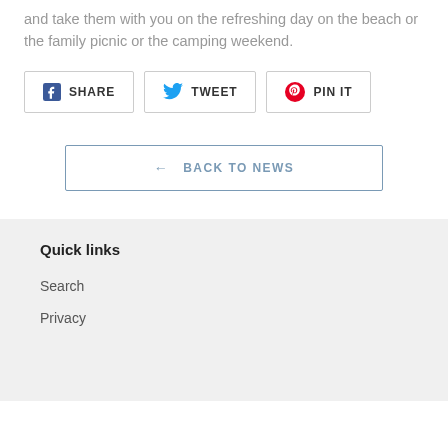and take them with you on the refreshing day on the beach or the family picnic or the camping weekend.
SHARE  TWEET  PIN IT
← BACK TO NEWS
Quick links
Search
Privacy